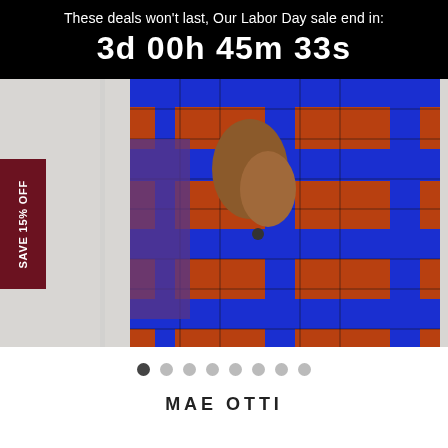These deals won't last, Our Labor Day sale end in:
3d 00h 45m 33s
[Figure (photo): Model wearing a blue and orange/red plaid printed jacket and matching pants, showing torso and hands, with a white paneled wall background.]
SAVE 15% OFF
• ○ ○ ○ ○ ○ ○ ○
MAE OTTI